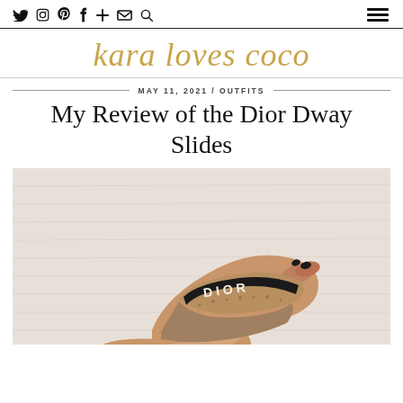kara loves coco — navigation icons and hamburger menu
kara loves coco
MAY 11, 2021 / OUTFITS
My Review of the Dior Dway Slides
[Figure (photo): Close-up overhead photo of a person's feet wearing Dior Dway slides with black and gold Dior branding strap, on a white textured background]